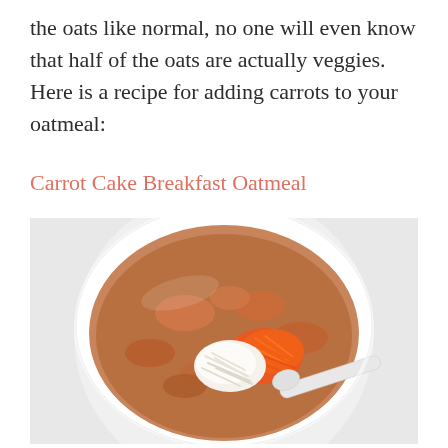the oats like normal, no one will even know that half of the oats are actually veggies. Here is a recipe for adding carrots to your oatmeal:
Carrot Cake Breakfast Oatmeal
[Figure (photo): Overhead view of a white bowl filled with carrot cake oatmeal, topped with shredded coconut and shredded carrots, with a white spoon resting in the bowl, on a light gray background.]